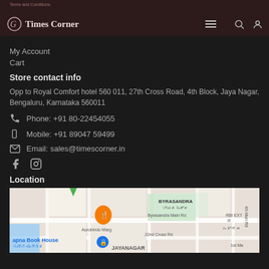Terms and Conditions
Times Corner
My Account
Cart
Store contact info
Opp to Royal Comfort hotel 560 011, 27th Cross Road, 4th Block, Jaya Nagar, Bengaluru, Karnataka 560011
Phone: +91 80-22454055
Mobile: +91 89047 59499
Email: sales@timescorner.in
Location
[Figure (map): Google Maps embed showing Jayanagar area in Bengaluru, India. Visible landmarks include Byrasandra Main Rd, BYRASANDRA area, Aurobindo Marg, 22nd Cross Rd, RBI area, apna Book House, JAYANAGAR label. An orange restaurant pin and a blue location pin are visible.]